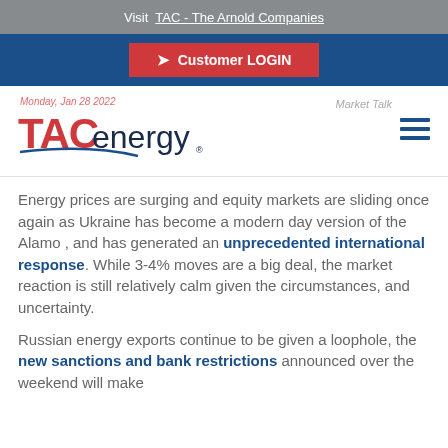Visit TAC - The Arnold Companies
Customer LOGIN
[Figure (logo): TAC energy logo in red and dark blue]
Monday, Jan 28 2022
Market Talk
Energy prices are surging and equity markets are sliding once again as Ukraine has become a modern day version of the Alamo , and has generated an unprecedented international response. While 3-4% moves are a big deal, the market reaction is still relatively calm given the circumstances, and uncertainty.
Russian energy exports continue to be given a loophole, the new sanctions and bank restrictions announced over the weekend will make